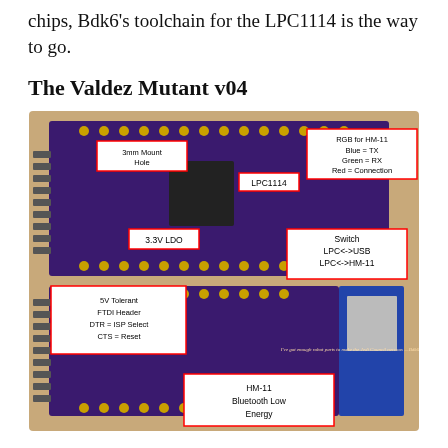chips, Bdk6's toolchain for the LPC1114 is the way to go.
The Valdez Mutant v04
[Figure (photo): Photo of the Valdez Mutant v04 circuit board with labeled components: 3mm Mount Hole, LPC1114, RGB for HM-11 (Blue=TX, Green=RX, Red=Connection), 3.3V LDO, Switch LPC<->USB / LPC<->HM-11, 5V Tolerant FTDI Header (DTR=ISP Select, CTS=Reset), HM-11 Bluetooth Low Energy.]
The chip has ROM boot loader. This allows you to